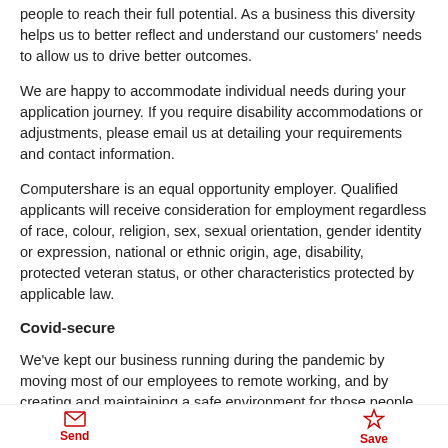people to reach their full potential. As a business this diversity helps us to better reflect and understand our customers' needs to allow us to drive better outcomes.
We are happy to accommodate individual needs during your application journey. If you require disability accommodations or adjustments, please email us at detailing your requirements and contact information.
Computershare is an equal opportunity employer. Qualified applicants will receive consideration for employment regardless of race, colour, religion, sex, sexual orientation, gender identity or expression, national or ethnic origin, age, disability, protected veteran status, or other characteristics protected by applicable law.
Covid-secure
We've kept our business running during the pandemic by moving most of our employees to remote working, and by creating and maintaining a safe environment for those people who need to be in the office. We carefully limit the amount of people at our locations and ensure that those who cannot work remotely are kept safe with proper distancing and protective equipment. Face coverings will be required when in an office per the Computershare COVID-19 Policy For US Employees.
Send | Save